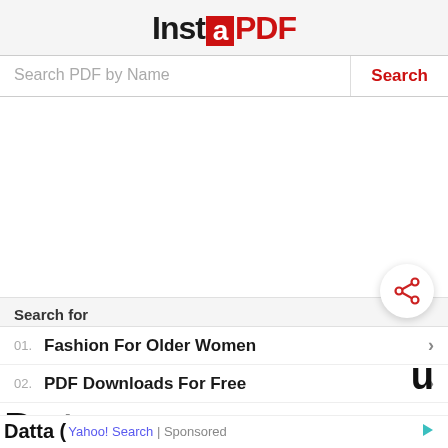InstaPDF
[Figure (screenshot): Search bar with placeholder text 'Search PDF by Name' and a red 'Search' button on the right]
[Figure (screenshot): Large blank white content area (advertisement placeholder)]
[Figure (other): Round white share button with red share/network icon]
Search for
01. Fashion For Older Women
02. PDF Downloads For Free
Datt                                                                u
Datta (Yahoo! Search | Sponsored